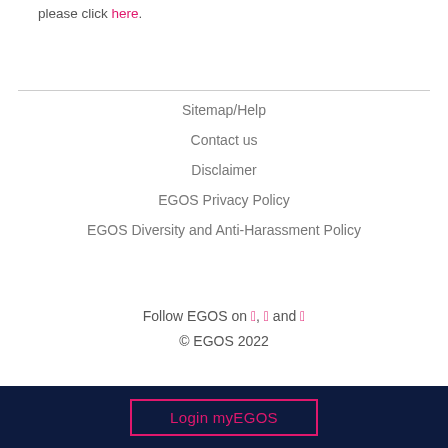please click here.
Sitemap/Help
Contact us
Disclaimer
EGOS Privacy Policy
EGOS Diversity and Anti-Harassment Policy
Follow EGOS on 🐦, 🔗 and 📘
© EGOS 2022
Login myEGOS